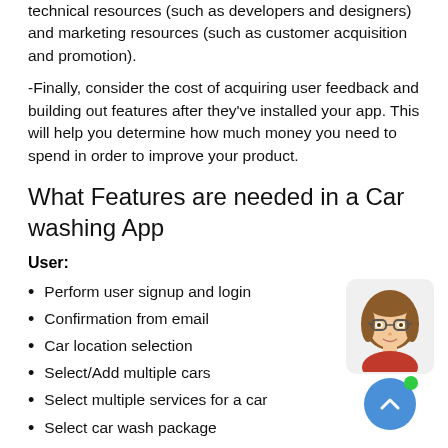technical resources (such as developers and designers) and marketing resources (such as customer acquisition and promotion).
-Finally, consider the cost of acquiring user feedback and building out features after they've installed your app. This will help you determine how much money you need to spend in order to improve your product.
What Features are needed in a Car washing App
User:
Perform user signup and login
Confirmation from email
Car location selection
Select/Add multiple cars
Select multiple services for a car
Select car wash package
Check service/technician availability
[Figure (illustration): Animated avatar of a woman with brown hair and glasses wearing an orange top, inside a rounded rectangle widget, with a blue circular scroll-up button below it and a green dot indicator]